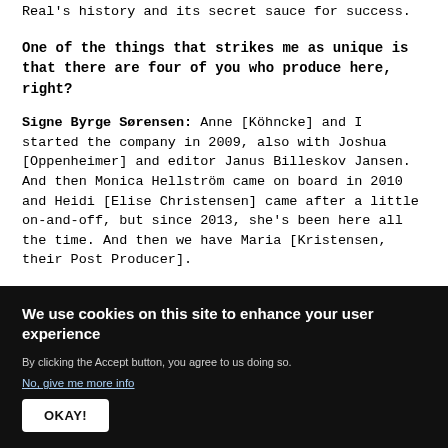Real's history and its secret sauce for success.
One of the things that strikes me as unique is that there are four of you who produce here, right?
Signe Byrge Sørensen: Anne [Köhncke] and I started the company in 2009, also with Joshua [Oppenheimer] and editor Janus Billeskov Jansen. And then Monica Hellström came on board in 2010 and Heidi [Elise Christensen] came after a little on-and-off, but since 2013, she's been here all the time. And then we have Maria [Kristensen, their Post Producer].
We use cookies on this site to enhance your user experience
By clicking the Accept button, you agree to us doing so.
No, give me more info
OKAY!